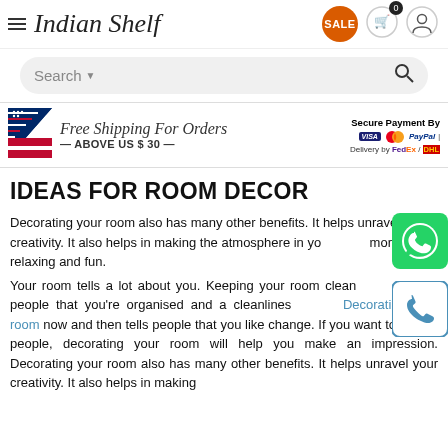Indian Shelf
[Figure (screenshot): Search bar with dropdown arrow and search icon on gray rounded background]
[Figure (infographic): Free Shipping For Orders — ABOVE US $ 30 — banner with US flag, Secure Payment By with Visa, Mastercard, PayPal, Delivery by FedEx / DHL]
IDEAS FOR ROOM DECOR
Decorating your room also has many other benefits. It helps unravel your creativity. It also helps in making the atmosphere in your room more relaxing and fun.
Your room tells a lot about you. Keeping your room clean and tidy tells people that you're organised and a cleanliness lover. Decorating your room now and then tells people that you like change. If you want to impact people, decorating your room will help you make an impression. Decorating your room also has many other benefits. It helps unravel your creativity. It also helps in making